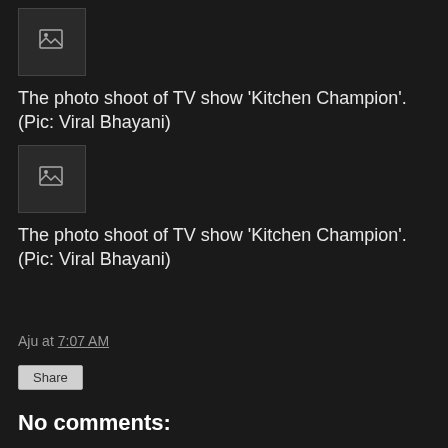[Figure (photo): Broken image placeholder icon (first image)]
The photo shoot of TV show 'Kitchen Champion'. (Pic: Viral Bhayani)
[Figure (photo): Broken image placeholder icon (second image)]
The photo shoot of TV show 'Kitchen Champion'. (Pic: Viral Bhayani)
Aju at 7:07 AM
Share
No comments:
Post a Comment